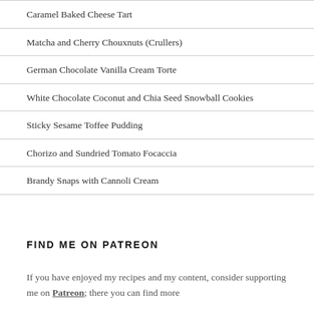Caramel Baked Cheese Tart
Matcha and Cherry Chouxnuts (Crullers)
German Chocolate Vanilla Cream Torte
White Chocolate Coconut and Chia Seed Snowball Cookies
Sticky Sesame Toffee Pudding
Chorizo and Sundried Tomato Focaccia
Brandy Snaps with Cannoli Cream
FIND ME ON PATREON
If you have enjoyed my recipes and my content, consider supporting me on Patreon; there you can find more